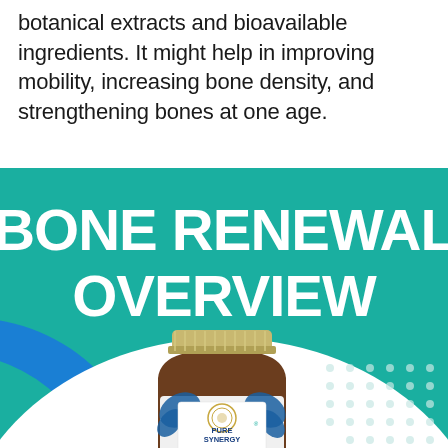botanical extracts and bioavailable ingredients. It might help in improving mobility, increasing bone density, and strengthening bones at one age.
[Figure (photo): Product overview graphic with teal background showing 'BONE RENEWAL OVERVIEW' large white bold text, with a Pure Synergy Bone Renewal supplement bottle (amber glass jar with white label showing blue botanical design, gold lid) displayed in a white semicircle area at the bottom. Blue arc decorative element on bottom left. Dot pattern on bottom right.]